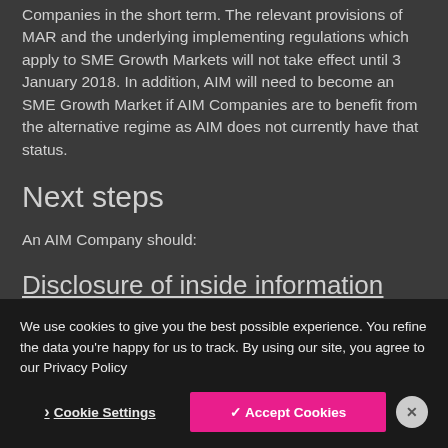Companies in the short term. The relevant provisions of MAR and the underlying implementing regulations which apply to SME Growth Markets will not take effect until 3 January 2018. In addition, AIM will need to become an SME Growth Market if AIM Companies are to benefit from the alternative regime as AIM does not currently have that status.
Next steps
An AIM Company should:
Disclosure of inside information
We use cookies to give you the best possible experience. You refine the data you're happy for us to track. By using our site, you agree to our Privacy Policy